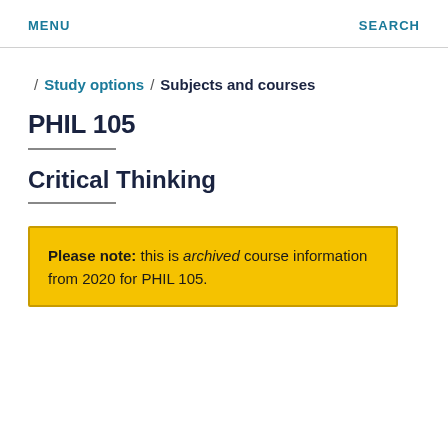MENU   SEARCH
/ Study options / Subjects and courses
PHIL 105
Critical Thinking
Please note: this is archived course information from 2020 for PHIL 105.